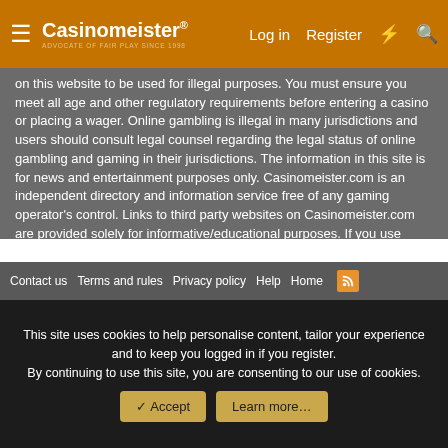Casinomeister® — Advocate of fair play since 1998 | Log in | Register
on this website to be used for illegal purposes. You must ensure you meet all age and other regulatory requirements before entering a casino or placing a wager. Online gambling is illegal in many jurisdictions and users should consult legal counsel regarding the legal status of online gambling and gaming in their jurisdictions. The information in this site is for news and entertainment purposes only. Casinomeister.com is an independent directory and information service free of any gaming operator's control. Links to third party websites on Casinomeister.com are provided solely for informative/educational purposes. If you use these links, you leave this Website.
Copyright 1998-2022 all rights reserved. Casinomeister is a registered trademark. You scrape-a my site, I break-a you face!
Legal and Privacy Policy
✏ CM Theme  🌐 English (US)
Contact us   Terms and rules   Privacy policy   Help   Home   [RSS]
This site uses cookies to help personalise content, tailor your experience and to keep you logged in if you register.
By continuing to use this site, you are consenting to our use of cookies.
✓ Accept   Learn more…